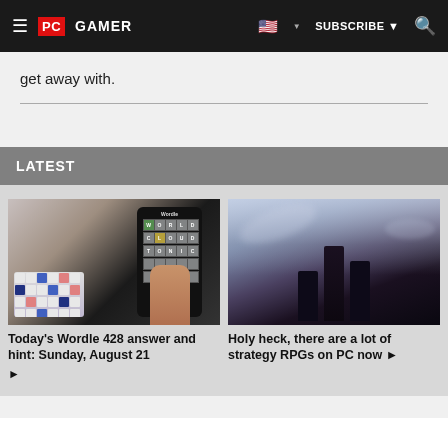PC GAMER | SUBSCRIBE | Search
get away with.
LATEST
[Figure (photo): A hand holding a smartphone showing the Wordle game app, with a mechanical keyboard with pink and blue keycaps visible in the background, and a small plant in a white pot.]
Today's Wordle 428 answer and hint: Sunday, August 21 ▶
[Figure (photo): Dark fantasy artwork showing silhouetted armored warrior figures standing heroically against a dramatic misty, cloudy background in shades of purple, blue, and gray.]
Holy heck, there are a lot of strategy RPGs on PC now ▶